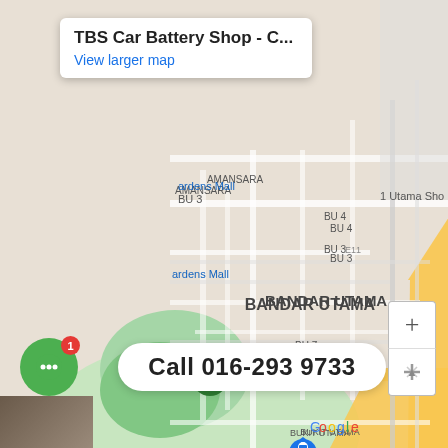[Figure (screenshot): Google Maps screenshot showing TBS Car Battery Shop location in Bandar Utama, Malaysia. Map shows surrounding areas including Kampung Kayu Ara, Bukit Utama, Suburia Park, Beverly Residence, Cempaka Utama, and nearby landmarks like Centrepoint Bandar Utama, Atria Shopping Gallery, and Utama Tayar Bateri Servis. A red location pin marks TBS Car Battery Shop, and a blue pin marks Centrepoint Bandar Utama. Road labels include E11, 1104, E23, 2309, 1107, SS2.]
TBS Car Battery Shop - C...
View larger map
Call 016-293 9733